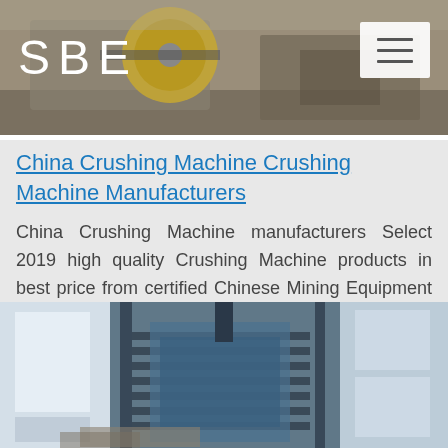[Figure (photo): Header image showing industrial crushing/mining machinery with SBE logo on left and hamburger menu button on right]
China Crushing Machine Crushing Machine Manufacturers
China Crushing Machine manufacturers Select 2019 high quality Crushing Machine products in best price from certified Chinese Mining Equipment manufacturers Mining Machine suppliers wholesalers and factory on Made in China com
[Figure (photo): Industrial crushing machine equipment in a factory setting, showing mechanical components, conveyor structures and blue machinery]